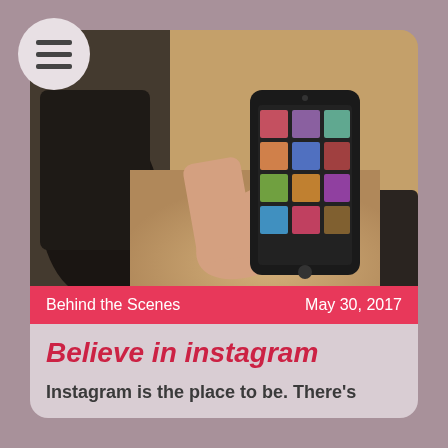[Figure (other): Hamburger menu icon inside a circular button, top left corner]
[Figure (photo): A hand holding a smartphone displaying an Instagram feed, with dark boots/shoes in the background on a wooden floor]
Behind the Scenes   May 30, 2017
Believe in instagram
Instagram is the place to be. There's